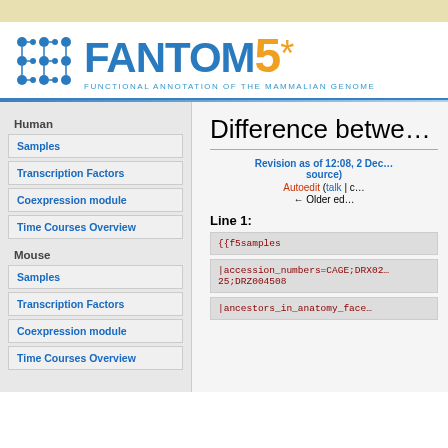[Figure (logo): FANTOM5* logo with network icon, blue text FANTOM, orange number 5 and asterisk, subtitle FUNCTIONAL ANNOTATION OF THE MAMMALIAN GENOME]
Human
Samples
Transcription Factors
Coexpression module
Time Courses Overview
Mouse
Samples
Transcription Factors
Coexpression module
Time Courses Overview
Difference betwe…
Revision as of 12:08, 2 Dec… source)
Autoedit (talk | c… ← Older ed…
Line 1:
{{f5samples
|accession_numbers=CAGE;DRX02… 25;DRZ004508
|ancestors_in_anatomy_face…